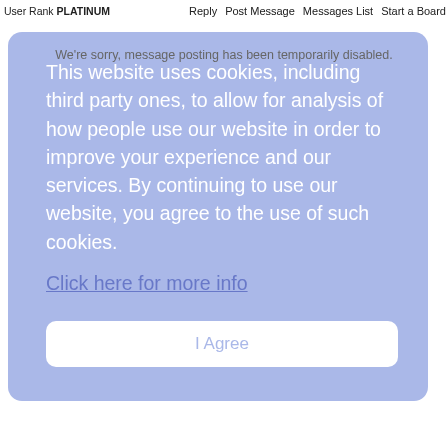User Rank PLATINUM   Reply  Post Message  Messages List  Start a Board
We're sorry, message posting has been temporarily disabled.
This website uses cookies, including third party ones, to allow for analysis of how people use our website in order to improve your experience and our services. By continuing to use our website, you agree to the use of such cookies.
Click here for more info
I Agree